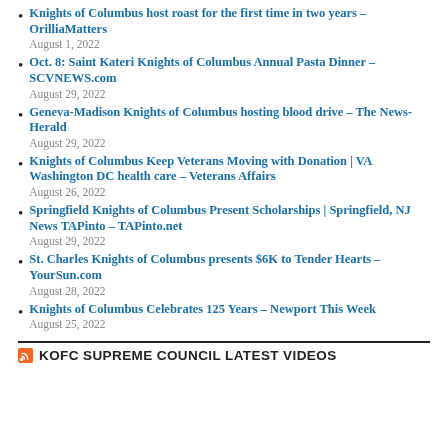Knights of Columbus host roast for the first time in two years – OrilliaMatters
August 1, 2022
Oct. 8: Saint Kateri Knights of Columbus Annual Pasta Dinner – SCVNEWS.com
August 29, 2022
Geneva-Madison Knights of Columbus hosting blood drive – The News-Herald
August 29, 2022
Knights of Columbus Keep Veterans Moving with Donation | VA Washington DC health care – Veterans Affairs
August 26, 2022
Springfield Knights of Columbus Present Scholarships | Springfield, NJ News TAPinto – TAPinto.net
August 29, 2022
St. Charles Knights of Columbus presents $6K to Tender Hearts – YourSun.com
August 28, 2022
Knights of Columbus Celebrates 125 Years – Newport This Week
August 25, 2022
KOFC SUPREME COUNCIL LATEST VIDEOS